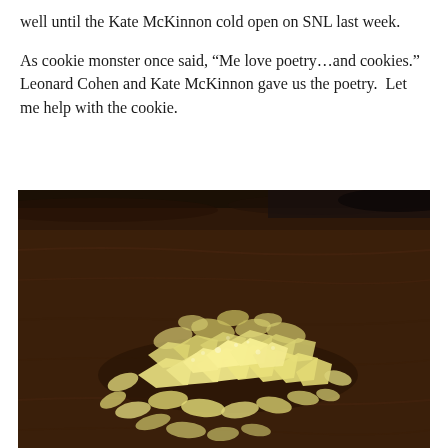well until the Kate McKinnon cold open on SNL last week.
As cookie monster once said, “Me love poetry…and cookies.”  Leonard Cohen and Kate McKinnon gave us the poetry.  Let me help with the cookie.
[Figure (photo): Close-up photo of a pile of small yellow crystallized/candied ginger pieces on a dark wooden cutting board surface. The ginger pieces are pale yellow and appear sugary/crystallized.]